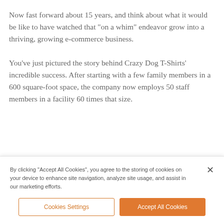Now fast forward about 15 years, and think about what it would be like to have watched that “on a whim” endeavor grow into a thriving, growing e-commerce business.
You’ve just pictured the story behind Crazy Dog T-Shirts’ incredible success. After starting with a few family members in a 600 square-foot space, the company now employs 50 staff members in a facility 60 times that size.
By clicking “Accept All Cookies”, you agree to the storing of cookies on your device to enhance site navigation, analyze site usage, and assist in our marketing efforts.
Cookies Settings
Accept All Cookies